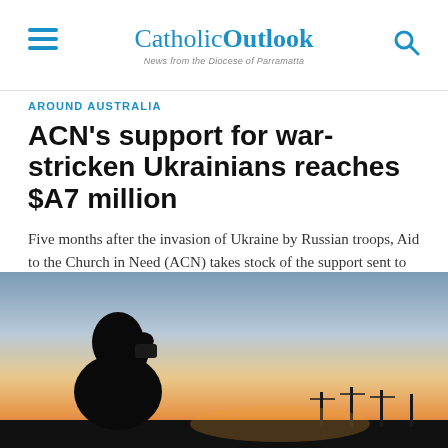Catholic Outlook — News from the Diocese of Parramatta
AROUND AUSTRALIA
ACN's support for war-stricken Ukrainians reaches $A7 million
Five months after the invasion of Ukraine by Russian troops, Aid to the Church in Need (ACN) takes stock of the support sent to the country: over seven million...
[Figure (photo): Silhouette of a person against a sunset sky with orange and warm gradient colors, dark landscape with utility poles in background]